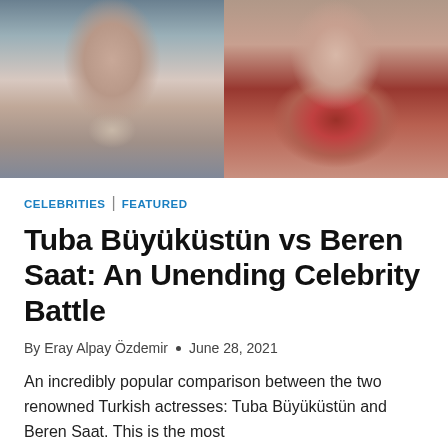[Figure (photo): Side-by-side photo of two Turkish actresses: left shows a dark-haired woman with a neutral expression against a blurred background, right shows a woman with auburn hair wearing a red draped top.]
CELEBRITIES | FEATURED
Tuba Büyüküstün vs Beren Saat: An Unending Celebrity Battle
By Eray Alpay Özdemir • June 28, 2021
An incredibly popular comparison between the two renowned Turkish actresses: Tuba Büyüküstün and Beren Saat. This is the most